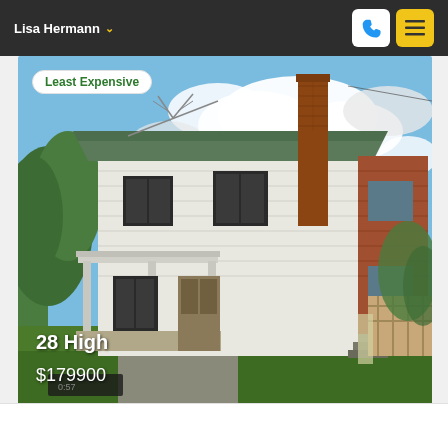Lisa Hermann
[Figure (photo): Exterior photo of a two-story white farmhouse with green metal roof, brick chimney, covered front porch, and wooden deck/fence on the right side. Labeled 'Least Expensive'. Property address: 28 High, Price: $179900]
28 High
$179900